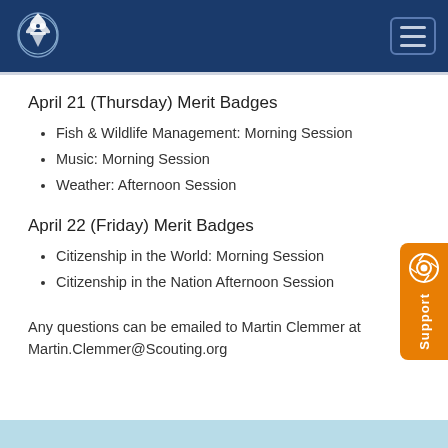BSA Boy Scouts of America - navigation header
April 21 (Thursday) Merit Badges
Fish & Wildlife Management: Morning Session
Music: Morning Session
Weather: Afternoon Session
April 22 (Friday) Merit Badges
Citizenship in the World: Morning Session
Citizenship in the Nation Afternoon Session
Any questions can be emailed to Martin Clemmer at Martin.Clemmer@Scouting.org